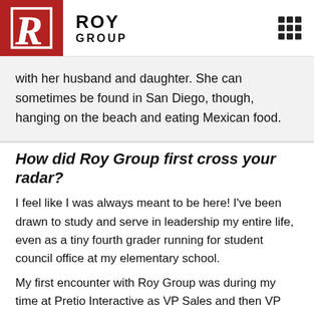ROY GROUP
with her husband and daughter. She can sometimes be found in San Diego, though, hanging on the beach and eating Mexican food.
How did Roy Group first cross your radar?
I feel like I was always meant to be here! I've been drawn to study and serve in leadership my entire life, even as a tiny fourth grader running for student council office at my elementary school.
My first encounter with Roy Group was during my time at Pretio Interactive as VP Sales and then VP